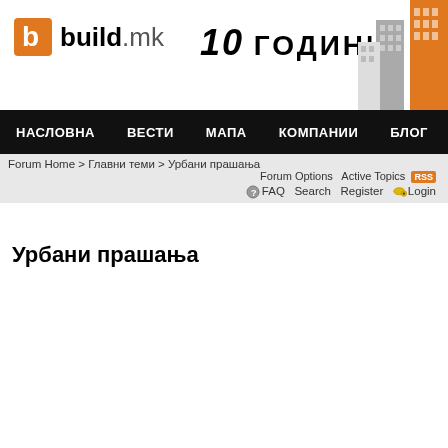[Figure (logo): build.mk logo with orange B icon and cityscape illustration, 10 ГОДИНИ tagline]
НАСЛОВНА  ВЕСТИ  МАПА  КОМПАНИИ  БЛОГ
Forum Home > Главни теми > Урбани прашања
Forum Options  Active Topics RSS  FAQ  Search  Register  Login
Урбани прашања
|  | Sub Forum(s) | Topics | Posts | Last Post |
| --- | --- | --- | --- | --- |
| [icon] | Јавен превоз (2 Viewing)
Автобуски, трамвај, ЛРТ, метро, тролејбус... | 49 | 9498 | By stef4o
in Метробус Скопје...
26-Aug-2022 at 10:51 |
| [icon] | Урбанистички целини (2 Viewing) | 62 | 11066 | By stef4o
in Урбанистичк... |